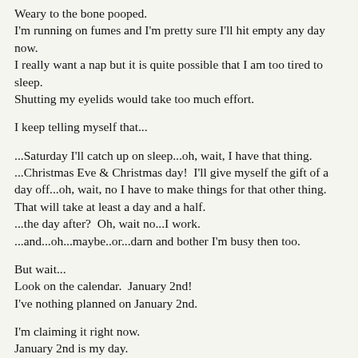Weary to the bone pooped.
I'm running on fumes and I'm pretty sure I'll hit empty any day now.
I really want a nap but it is quite possible that I am too tired to sleep.
Shutting my eyelids would take too much effort.
I keep telling myself that...
...Saturday I'll catch up on sleep...oh, wait, I have that thing.
...Christmas Eve & Christmas day!  I'll give myself the gift of a day off...oh, wait, no I have to make things for that other thing.  That will take at least a day and a half.
...the day after?  Oh, wait no...I work.
...and...oh...maybe..or...darn and bother I'm busy then too.
But wait...
Look on the calendar.  January 2nd!
I've nothing planned on January 2nd.
I'm claiming it right now.
January 2nd is my day.
MINE.